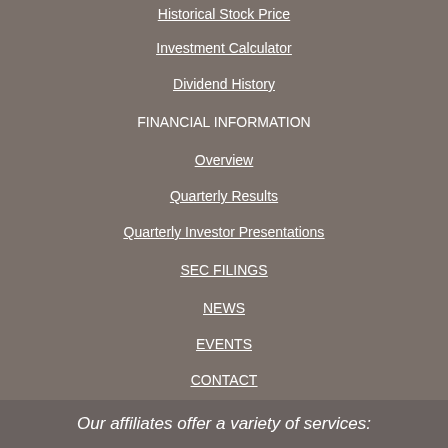Historical Stock Price
Investment Calculator
Dividend History
FINANCIAL INFORMATION
Overview
Quarterly Results
Quarterly Investor Presentations
SEC FILINGS
NEWS
EVENTS
CONTACT
Our affiliates offer a variety of services: